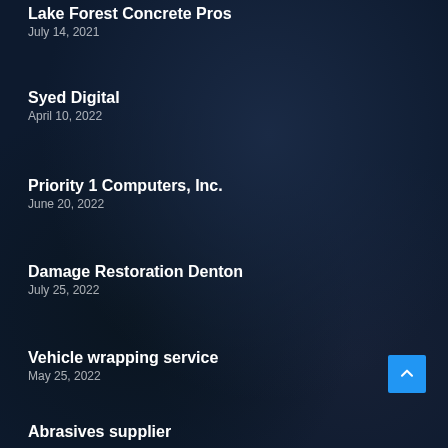Lake Forest Concrete Pros
July 14, 2021
Syed Digital
April 10, 2022
Priority 1 Computers, Inc.
June 20, 2022
Damage Restoration Denton
July 25, 2022
Vehicle wrapping service
May 25, 2022
Abrasives supplier